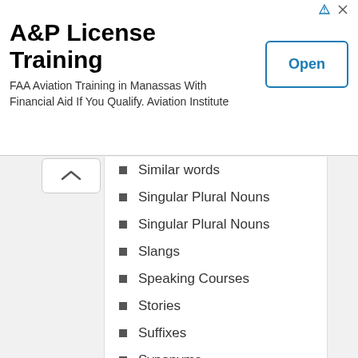[Figure (screenshot): Advertisement banner for A&P License Training. Title: 'A&P License Training'. Subtitle: 'FAA Aviation Training in Manassas With Financial Aid If You Qualify. Aviation Institute'. Button: 'Open'.]
Similar words
Singular Plural Nouns
Singular Plural Nouns
Slangs
Speaking Courses
Stories
Suffixes
Synonyms
Tenses
Transport Names
Vegetables Names
Verbs
Vocabulary